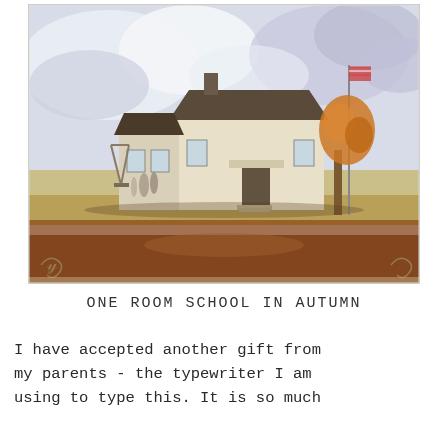[Figure (illustration): Watercolor illustration of a one-room schoolhouse in autumn. A small white wooden building with a dark roof, chimney, and open doorway sits on a flat prairie landscape. Children and figures are visible near the school. An autumn tree with orange foliage and a flagpole stand to the right. Yellow-green fields and a dramatic cloudy sky fill the background. Decorative scroll flourishes appear at the bottom corners.]
ONE ROOM SCHOOL IN AUTUMN
I have accepted another gift from my parents - the typewriter I am using to type this. It is so much